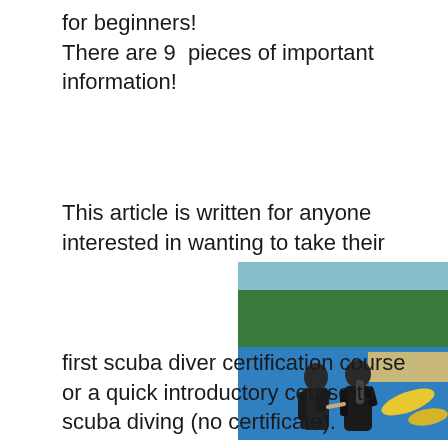for beginners! There are 9  pieces of important information!
This article is written for anyone interested in wanting to take their
[Figure (photo): Two people in wetsuits in a swimming pool or shallow water near a beach, appearing to be a scuba diving instructor and student checking diving equipment. Yellow fins visible on the poolside.]
first scuba diver certification course or a quick introductory course to scuba diving (no certificate).